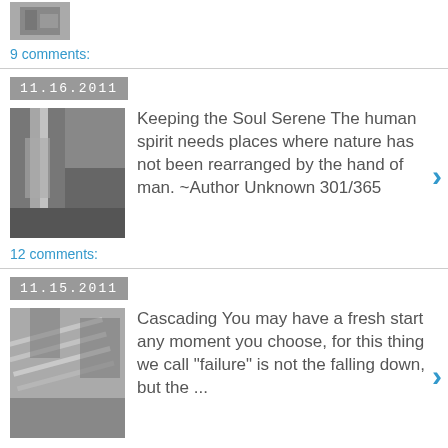[Figure (photo): Small grayscale thumbnail image at top]
9 comments:
11.16.2011
[Figure (photo): Black and white photo of a waterfall in rocky terrain]
Keeping the Soul Serene The human spirit needs places where nature has not been rearranged by the hand of man. ~Author Unknown 301/365
12 comments:
11.15.2011
[Figure (photo): Black and white photo of cascading water]
Cascading You may have a fresh start any moment you choose, for this thing we call "failure" is not the falling down, but the ...
15 comments:
11.14.2011
[Figure (photo): Black and white photo of shadows and light in Badlands]
Shadows and Light Badlands in Black and White We are each gifted in a unique and important way. It is our privilege and our adventure t